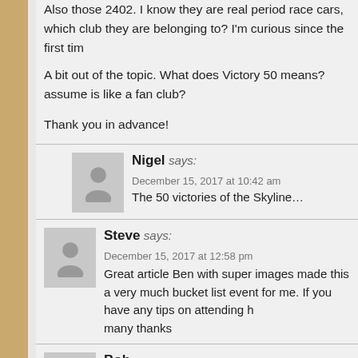Also those 2402. I know they are real period race cars, which club they are belonging to? I'm curious since the first tim...
A bit out of the topic. What does Victory 50 means? I assume is like a fan club?
Thank you in advance!
Nigel says: December 15, 2017 at 10:42 am — The 50 victories of the Skyline…
Steve says: December 15, 2017 at 12:58 pm — Great article Ben with super images made this a very much bucket list event for me. If you have any tips on attending h... many thanks
Bob says: